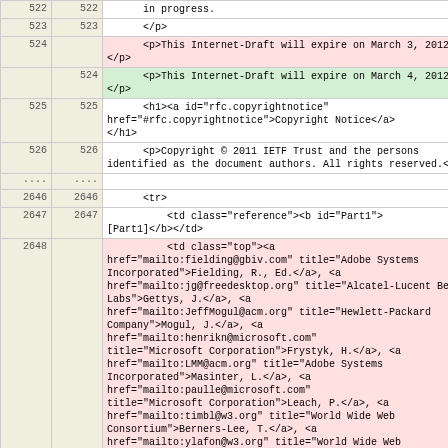| Line1 | Line2 | Content |
| --- | --- | --- |
| 522 | 522 | in progress. |
| 523 | 523 | </p> |
| 524 |  | <p>This Internet-Draft will expire on March 3, 2012.</p> |
|  | 524 | <p>This Internet-Draft will expire on March 4, 2012.</p> |
| 525 | 525 | <h1><a id="rfc.copyrightnotice" href="#rfc.copyrightnotice">Copyright Notice</a></h1> |
| 526 | 526 | <p>Copyright © 2011 IETF Trust and the persons identified as the document authors. All rights reserved.</p> |
| .... | .... |  |
| 2646 | 2646 | <tr> |
| 2647 | 2647 | <td class="reference"><b id="Part1">[Part1]</b></td> |
| 2648 |  | <td class="top"><a href="mailto:fielding@gbiv.com" title="Adobe Systems Incorporated">Fielding, R., Ed.</a>, <a href="mailto:jg@freedesktop.org" title="Alcatel-Lucent Bell Labs">Gettys, J.</a>, <a href="mailto:JeffMogul@acm.org" title="Hewlett-Packard Company">Mogul, J.</a>, <a href="mailto:henrikn@microsoft.com" title="Microsoft Corporation">Frystyk, H.</a>, <a href="mailto:LMM@acm.org" title="Adobe Systems Incorporated">Masinter, L.</a>, <a href="mailto:paulle@microsoft.com" title="Microsoft Corporation">Leach, P.</a>, <a href="mailto:timbl@w3.org" title="World Wide Web Consortium">Berners-Lee, T.</a>, <a href="mailto:ylafon@w3.org" title="World Wide Web Consortium">Lafon, Y., Ed.</a>, and <a href="mailto:julian.reschke@greenbytes.de" title="greenbytes GmbH">J. Reschke, Ed.</a>, "<a href="http://tools.ietf.org/html/draft-ietf- |